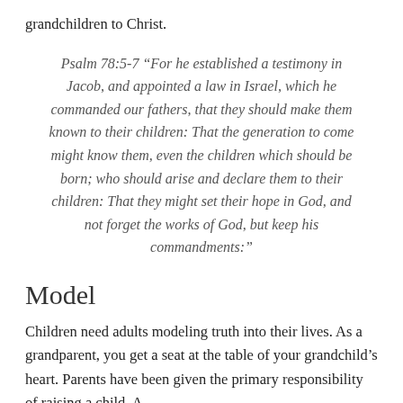grandchildren to Christ.
Psalm 78:5-7 “For he established a testimony in Jacob, and appointed a law in Israel, which he commanded our fathers, that they should make them known to their children: That the generation to come might know them, even the children which should be born; who should arise and declare them to their children: That they might set their hope in God, and not forget the works of God, but keep his commandments:”
Model
Children need adults modeling truth into their lives. As a grandparent, you get a seat at the table of your grandchild’s heart. Parents have been given the primary responsibility of raising a child. A